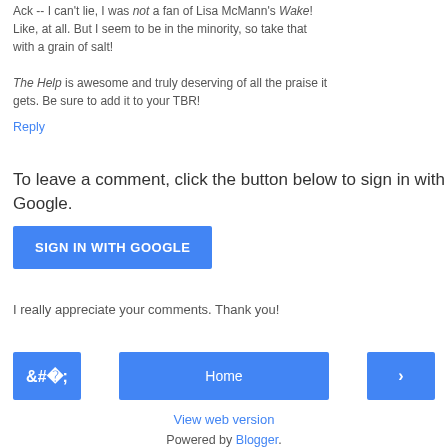Ack -- I can't lie, I was not a fan of Lisa McMann's Wake! Like, at all. But I seem to be in the minority, so take that with a grain of salt! The Help is awesome and truly deserving of all the praise it gets. Be sure to add it to your TBR!
Reply
To leave a comment, click the button below to sign in with Google.
[Figure (other): Blue 'SIGN IN WITH GOOGLE' button]
I really appreciate your comments. Thank you!
[Figure (other): Navigation bar with left arrow button, Home button, and right arrow button]
View web version
Powered by Blogger.